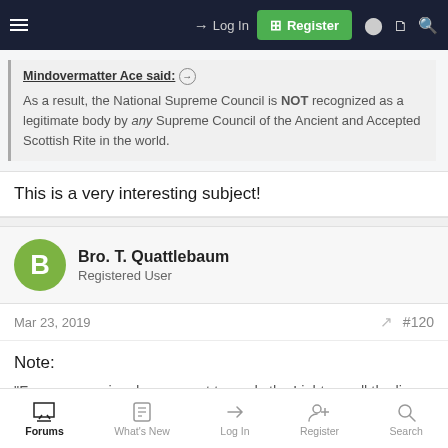Log In | Register
Mindovermatter Ace said: ⊕
As a result, the National Supreme Council is NOT recognized as a legitimate body by any Supreme Council of the Ancient and Accepted Scottish Rite in the world.
This is a very interesting subject!
Bro. T. Quattlebaum
Registered User
Mar 23, 2019  #120
Note:
"Freemasonry is advancement towards the Light, on all the line of
Forums | What's New | Log In | Register | Search